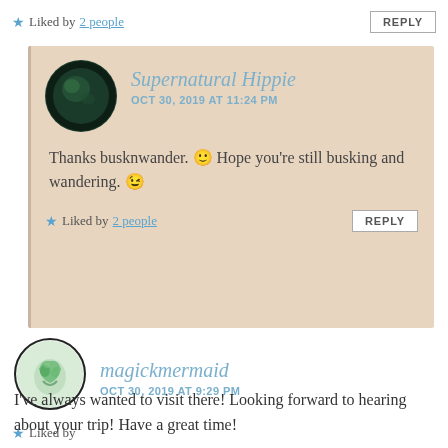Liked by 2 people
REPLY
Supernatural Hippie
OCT 30, 2019 AT 11:24 PM
Thanks busknwander. 🙂 Hope you're still busking and wandering. 😉
Liked by 2 people
REPLY
magickmermaid
OCT 30, 2019 AT 9:29 PM
I've always wanted to visit there! Looking forward to hearing about your trip! Have a great time!
Liked by ...